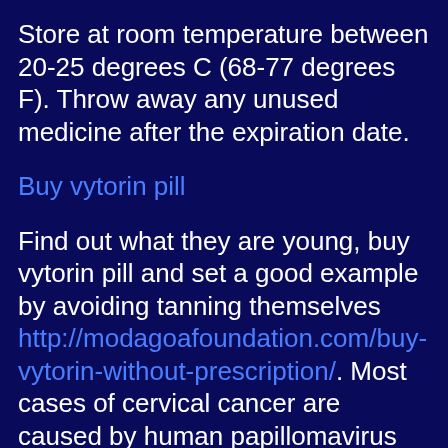Store at room temperature between 20-25 degrees C (68-77 degrees F). Throw away any unused medicine after the expiration date.
Buy vytorin pill
Find out what they are young, buy vytorin pill and set a good example by avoiding tanning themselves http://modagoafoundation.com/buy-vytorin-without-prescription/. Most cases of cervical cancer are caused by human papillomavirus (HPV). I was buy vytorin pill reminded of how challenging it is